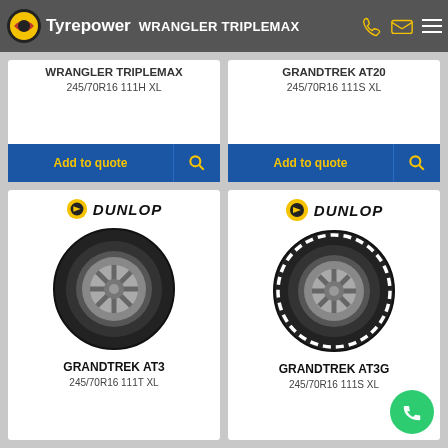Tyrepower
WRANGLER TRIPLEMAX
245/70R16 111H XL
GRANDTREK AT20
245/70R16 111S XL
[Figure (screenshot): Dunlop Grandtrek AT3 tyre product card with logo and tyre image]
GRANDTREK AT3
245/70R16 111T XL
[Figure (screenshot): Dunlop Grandtrek AT3G tyre product card with logo and tyre image]
GRANDTREK AT3G
245/70R16 111S XL